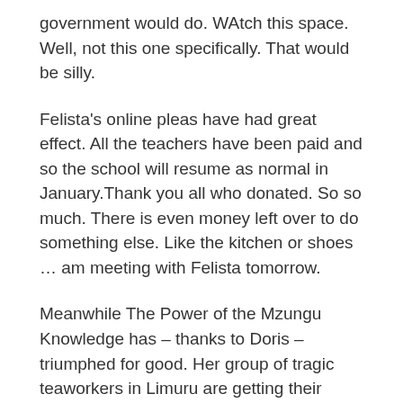government would do. WAtch this space. Well, not this one specifically. That would be silly.
Felista's online pleas have had great effect. All the teachers have been paid and so the school will resume as normal in January.Thank you all who donated. So so much. There is even money left over to do something else. Like the kitchen or shoes … am meeting with Felista tomorrow.
Meanwhile The Power of the Mzungu Knowledge has – thanks to Doris – triumphed for good. Her group of tragic teaworkers in Limuru are getting their money at last. Recap. Group of around fifty working on big tea farm. They are so devastatedly helpless that we are finding it difficult to get them into businesses. They earn about a pound a day. And they have not been paid for six months. So they cannot risk leaving the